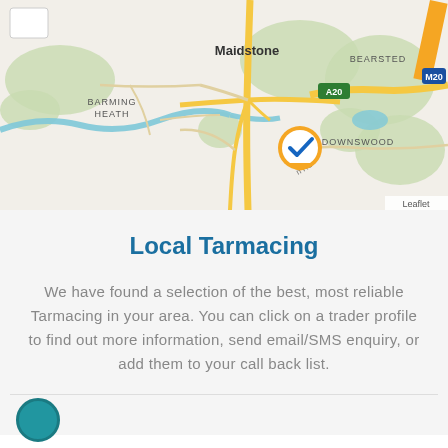[Figure (map): Street map centered on Maidstone, showing areas including Barming Heath, Bearsted, Downswood, with road A20 and M20, and an orange location pin with blue checkmark.]
Local Tarmacing
We have found a selection of the best, most reliable Tarmacing in your area. You can click on a trader profile to find out more information, send email/SMS enquiry, or add them to your call back list.